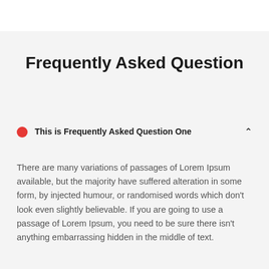Frequently Asked Question
This is Frequently Asked Question One
There are many variations of passages of Lorem Ipsum available, but the majority have suffered alteration in some form, by injected humour, or randomised words which don't look even slightly believable. If you are going to use a passage of Lorem Ipsum, you need to be sure there isn't anything embarrassing hidden in the middle of text.